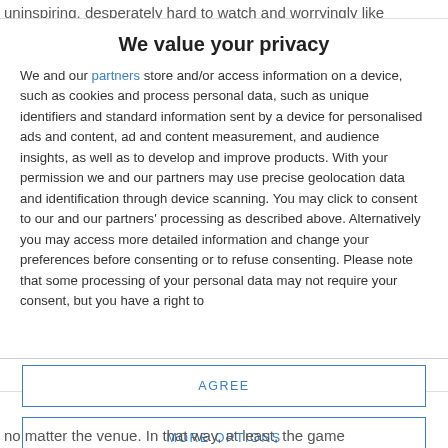uninspiring, desperately hard to watch and worryingly like
We value your privacy
We and our partners store and/or access information on a device, such as cookies and process personal data, such as unique identifiers and standard information sent by a device for personalised ads and content, ad and content measurement, and audience insights, as well as to develop and improve products. With your permission we and our partners may use precise geolocation data and identification through device scanning. You may click to consent to our and our partners' processing as described above. Alternatively you may access more detailed information and change your preferences before consenting or to refuse consenting. Please note that some processing of your personal data may not require your consent, but you have a right to
AGREE
MORE OPTIONS
no matter the venue. In that way, at least, the game